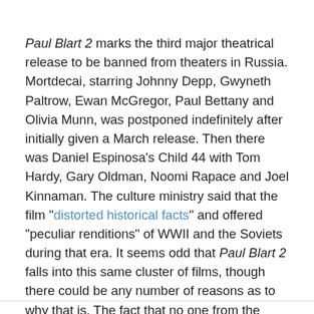Paul Blart 2 marks the third major theatrical release to be banned from theaters in Russia. Mortdecai, starring Johnny Depp, Gwyneth Paltrow, Ewan McGregor, Paul Bettany and Olivia Munn, was postponed indefinitely after initially given a March release. Then there was Daniel Espinosa's Child 44 with Tom Hardy, Gary Oldman, Noomi Rapace and Joel Kinnaman. The culture ministry said that the film "distorted historical facts" and offered "peculiar renditions" of WWII and the Soviets during that era. It seems odd that Paul Blart 2 falls into this same cluster of films, though there could be any number of reasons as to why that is. The fact that no one from the studio is willing to address it seems more